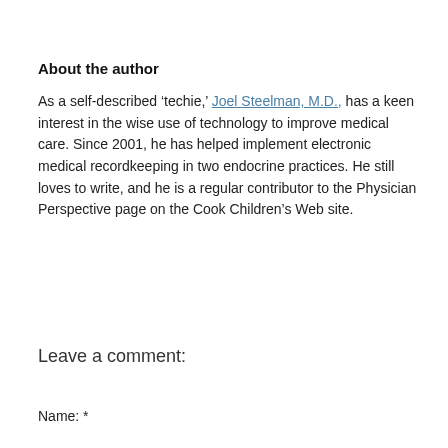About the author
As a self-described ‘techie,’ Joel Steelman, M.D., has a keen interest in the wise use of technology to improve medical care. Since 2001, he has helped implement electronic medical recordkeeping in two endocrine practices. He still loves to write, and he is a regular contributor to the Physician Perspective page on the Cook Children’s Web site.
Leave a comment:
Name: *